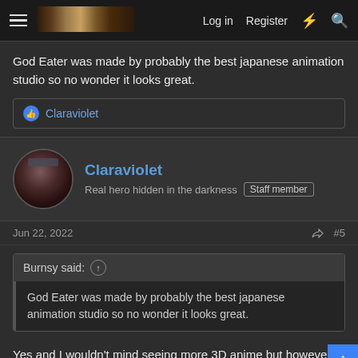Log in  Register
God Eater was made by probably the best japanese animation studio so no wonder it looks great.
👍 Claraviolet
Claraviolet
Real hero hidden in the darkness  Staff member
Jun 22, 2022  #5
Burnsy said: ↑
God Eater was made by probably the best japanese animation studio so no wonder it looks great.
Yes and I wouldn't mind seeing more 3D anime but however people I know are a bit biased when it comes to 3D anime.
Burnsy